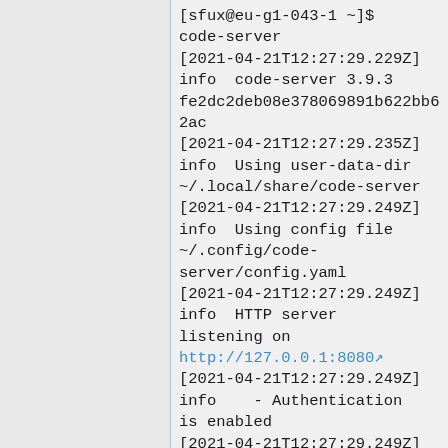[Figure (screenshot): Terminal/code-server output showing a partially visible left panel (grey) and a code-server startup log on the right with monospace text, including a hyperlink to http://127.0.0.1:8080]